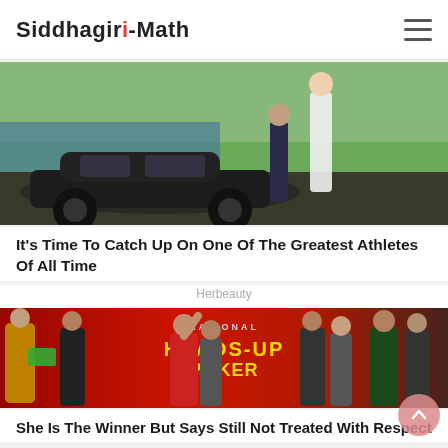Siddhagiri-Math
[Figure (photo): Outdoor photo showing a person standing near a vintage dark car with a scenic background]
It's Time To Catch Up On One Of The Greatest Athletes Of All Time
Herbeauty
[Figure (photo): Group of people celebrating at National Heads-Up Poker championship event, woman in wheelchair raises fist in victory]
She Is The Winner But Says Still Not Treated With Respect